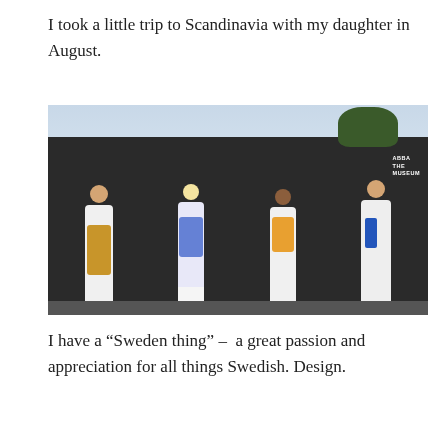I took a little trip to Scandinavia with my daughter in August.
[Figure (photo): Four people dressed in ABBA-style costumes posing in front of a dark granite wall. Text on wall reads 'ABBA THE MUSEUM'. Two males and two females, wearing white flares, golden vest, blue patterned outfit, orange cat print dress, and white suit with blue scarf.]
I have a “Sweden thing” –  a great passion and appreciation for all things Swedish. Design.